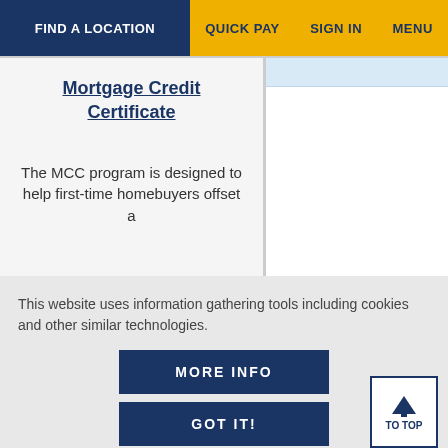FIND A LOCATION   QUICK PAY   SIGN IN   MENU
Mortgage Credit Certificate
The MCC program is designed to help first-time homebuyers offset a
This website uses information gathering tools including cookies and other similar technologies.
MORE INFO
GOT IT!
TO TOP